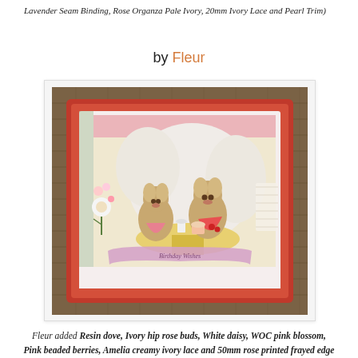Lavender Seam Binding, Rose Organza Pale Ivory, 20mm Ivory Lace and Pearl Trim)
by Fleur
[Figure (photo): A handmade craft card featuring illustrated mice having a tea party, decorated with flowers, lace, ribbons, and embellishments, set against a wicker/burlap background.]
Fleur added Resin dove, Ivory hip rose buds, White daisy, WOC pink blossom, Pink beaded berries, Amelia creamy ivory lace and 50mm rose printed frayed edge hessian ribbon